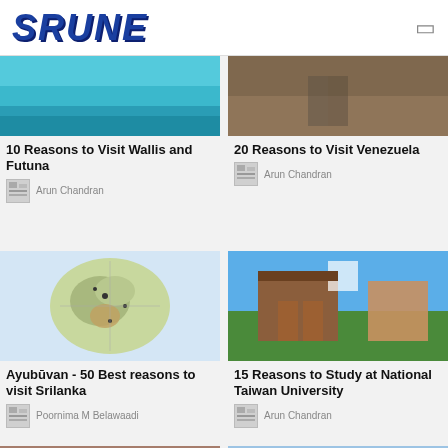SRUNE
[Figure (photo): Turquoise ocean water photo for Wallis and Futuna article]
10 Reasons to Visit Wallis and Futuna
Arun Chandran
[Figure (photo): Aerial road photo for Venezuela article]
20 Reasons to Visit Venezuela
Arun Chandran
[Figure (map): Map of Sri Lanka for Ayubuvan article]
Ayubūvan - 50 Best reasons to visit Srilanka
Poornima M Belawaadi
[Figure (photo): Photo of National Taiwan University building]
15 Reasons to Study at National Taiwan University
Arun Chandran
[Figure (photo): Sunset lake landscape photo]
[Figure (photo): Hot air balloons over rocky landscape photo]